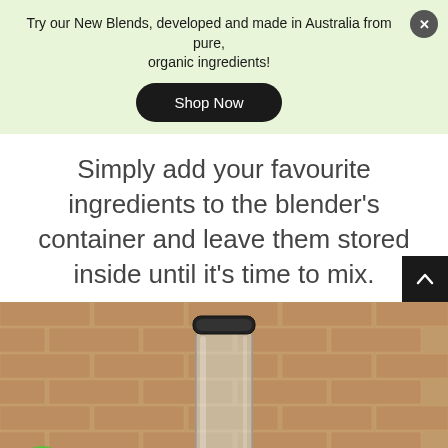Try our New Blends, developed and made in Australia from pure, organic ingredients!
Shop Now
Simply add your favourite ingredients to the blender's container and leave them stored inside until it's time to mix.
[Figure (photo): A clear glass blender container with black lid and blender blade at the bottom, mounted on a stainless steel blender base, photographed against a brick wall background. A green circular chat badge with a leaf/speech bubble icon is visible in the lower left.]